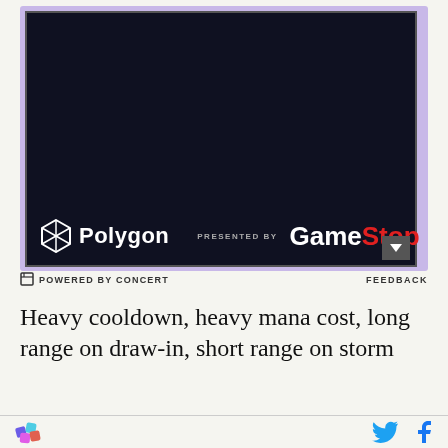[Figure (screenshot): Advertisement banner showing Polygon logo on left and GameStop logo on right with 'PRESENTED BY' text on dark navy background, inside a light purple bordered frame]
POWERED BY CONCERT   FEEDBACK
Heavy cooldown, heavy mana cost, long range on draw-in, short range on storm
[Figure (logo): Vox Media logo (colorful gem icon) on bottom left, Twitter and Facebook icons on bottom right]